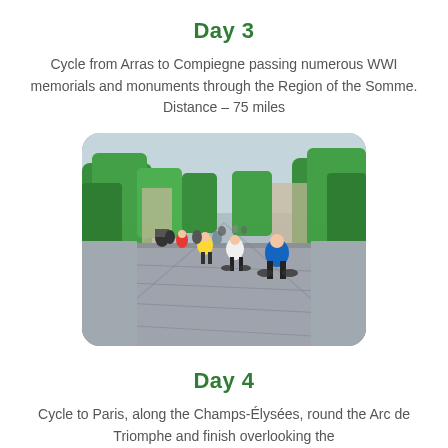Day 3
Cycle from Arras to Compiegne passing numerous WWI memorials and monuments through the Region of the Somme. Distance – 75 miles
[Figure (photo): Cyclists riding down a wide cobblestone boulevard lined with green trees, viewed from behind. Several riders in cycling gear are visible, with more cyclists and a motorbike further ahead.]
Day 4
Cycle to Paris, along the Champs-Élysées, round the Arc de Triomphe and finish overlooking the